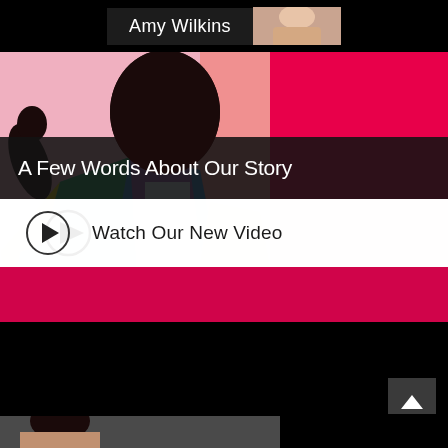Amy Wilkins
[Figure (photo): Cropped photo of a person's shoulder/arm on pink background]
[Figure (photo): Hero image of a man in colorful jacket and sunglasses against pink/red background]
A Few Words About Our Story
Watch Our New Video